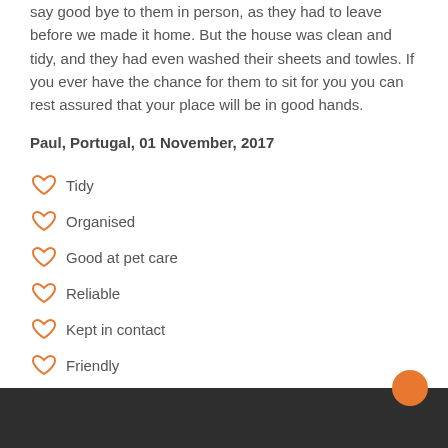say good bye to them in person, as they had to leave before we made it home. But the house was clean and tidy, and they had even washed their sheets and towles. If you ever have the chance for them to sit for you you can rest assured that your place will be in good hands.
Paul, Portugal, 01 November, 2017
Tidy
Organised
Good at pet care
Reliable
Kept in contact
Friendly
Handy around the house